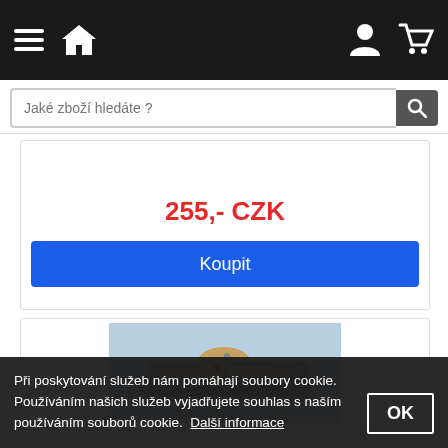Navigation header with hamburger menu, home icon, user icon, cart icon
Jaké zboží hledáte ?
255,- CZK
Koupit
[Figure (photo): Scale model of a military tank, viewed from above at an angle, on a light blue background]
1/200/ 1/72 1/2 M1 CZ
Při poskytování služeb nám pomáhají soubory cookie. Používáním našich služeb vyjadřujete souhlas s naším používáním souborů cookie.  Další informace
OK